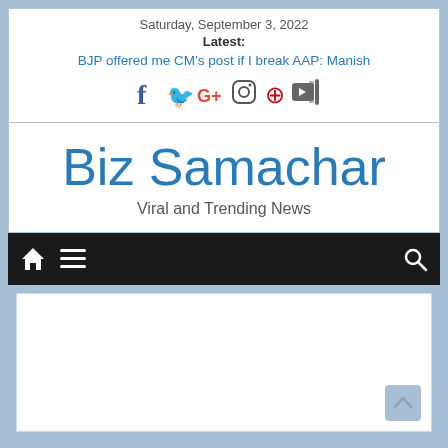Saturday, September 3, 2022
Latest:
BJP offered me CM's post if I break AAP: Manish
[Figure (other): Social media icons: Facebook, Twitter, Google+, Instagram, Pinterest, YouTube]
Biz Samachar
Viral and Trending News
[Figure (other): Navigation bar with home icon, menu icon, and search icon on dark background]
[Figure (other): White content area placeholder with scroll-to-top arrow button in bottom right]